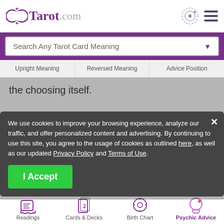Tarot.com
Search Any Tarot Card Meaning
Upright Meaning | Reversed Meaning | Advice Position
the choosing itself.
See if the Five of Pentacles Tarot card appears for you. Start a FREE reading now.
We use cookies to improve your browsing experience, analyze our traffic, and offer personalized content and advertising. By continuing to use this site, you agree to the usage of cookies as outlined here, as well as our updated Privacy Policy and Terms of Use.
I Accept
Readings | Cards & Decks | Birth Chart | Psychic Advice